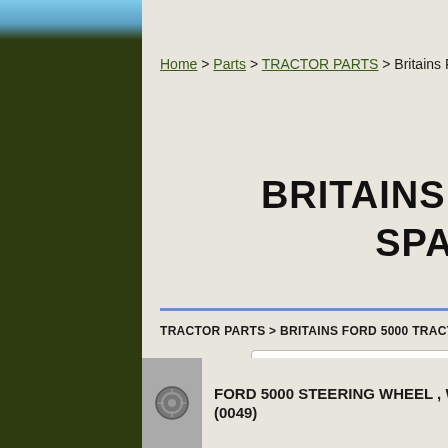Home > Parts > TRACTOR PARTS > Britains Ford 5000 Tractor
BRITAINS TRACTOR SPARES
TRACTOR PARTS > BRITAINS FORD 5000 TRACTOR
Quick Jump  BRITAINS FORD 500 ▾
Sort this list by
Product ID ▾
FORD 5000 STEERING WHEEL , WHITE METAL (0049)  £1.20  More info